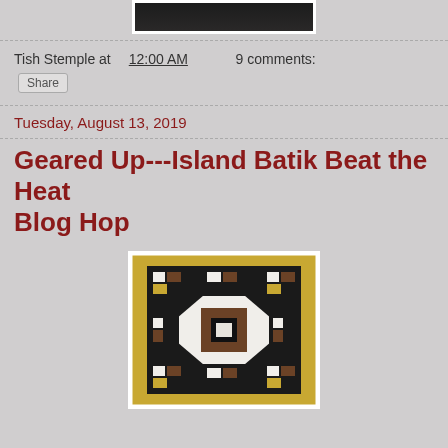[Figure (photo): Top portion of a photo with dark background, partially cut off at top]
Tish Stemple at 12:00 AM   9 comments:
Share
Tuesday, August 13, 2019
Geared Up---Island Batik Beat the Heat Blog Hop
[Figure (photo): Photo of a quilt with geometric black, white, brown, and gold pattern laid out on grass with a golden/yellow border]